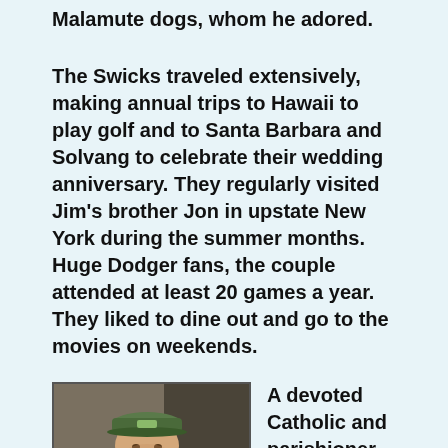Malamute dogs, whom he adored.
The Swicks traveled extensively, making annual trips to Hawaii to play golf and to Santa Barbara and Solvang to celebrate their wedding anniversary. They regularly visited Jim's brother Jon in upstate New York during the summer months. Huge Dodger fans, the couple attended at least 20 games a year. They liked to dine out and go to the movies on weekends.
[Figure (photo): A smiling man wearing a green baseball cap, photographed indoors with a warm background.]
A devoted Catholic and parishioner at St. Mel's